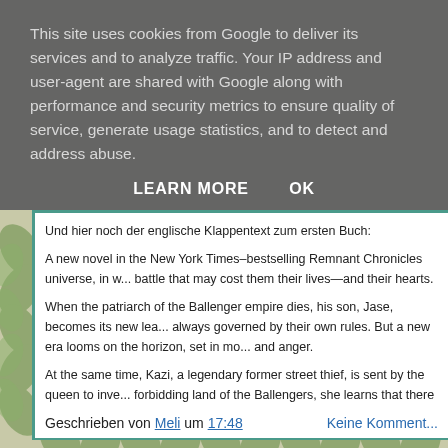This site uses cookies from Google to deliver its services and to analyze traffic. Your IP address and user-agent are shared with Google along with performance and security metrics to ensure quality of service, generate usage statistics, and to detect and address abuse.
LEARN MORE   OK
Und hier noch der englische Klappentext zum ersten Buch:
A new novel in the New York Times–bestselling Remnant Chronicles universe, in w... battle that may cost them their lives—and their hearts.
When the patriarch of the Ballenger empire dies, his son, Jase, becomes its new lea... always governed by their own rules. But a new era looms on the horizon, set in mo... and anger.
At the same time, Kazi, a legendary former street thief, is sent by the queen to inve... forbidding land of the Ballengers, she learns that there is more to Jase than she tho... together, they continue to play a cat and mouse game of false moves and motives i...
Geschrieben von Meli um 17:48   Keine Komment...